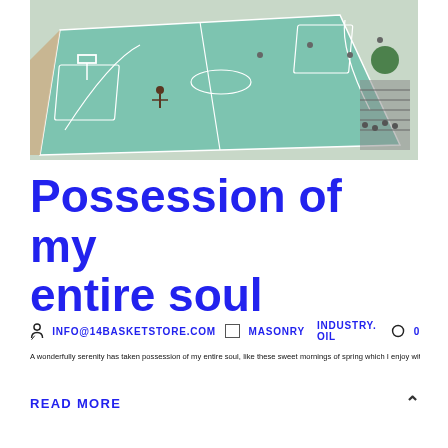[Figure (photo): Aerial view of an outdoor basketball court with green/teal surface, players visible, steps and trees at the edge]
Possession of my entire soul
INFO@14BASKETSTORE.COM   MASONRY   INDUSTRY. OIL   0
A wonderfully serenity has taken possession of my entire soul, like these sweet mornings of spring which I enjoy with
READ MORE